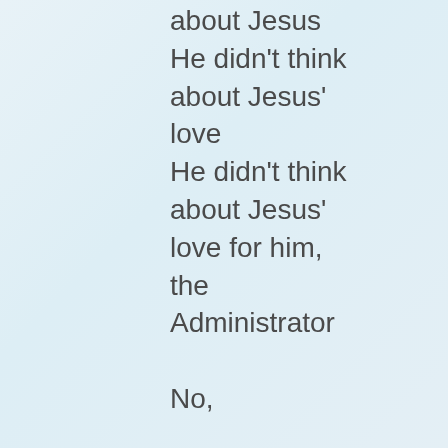about Jesus
He didn't think about Jesus' love
He didn't think about Jesus' love for him, the Administrator

No,

He was too busy thinking about the numbers
Those